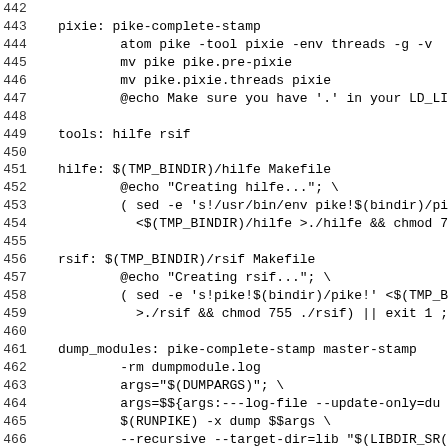Source code / Makefile excerpt, lines 442–468
| line | code |
| --- | --- |
| 442 |  |
| 443 | pixie: pike-complete-stamp |
| 444 |         atom pike -tool pixie -env threads -g -v |
| 445 |         mv pike pike.pre-pixie |
| 446 |         mv pike.pixie.threads pixie |
| 447 |         @echo Make sure you have '.' in your LD_L |
| 448 |  |
| 449 | tools: hilfe rsif |
| 450 |  |
| 451 | hilfe: $(TMP_BINDIR)/hilfe Makefile |
| 452 |         @echo "Creating hilfe..."; \ |
| 453 |         ( sed -e 's!/usr/bin/env pike!$(bindir)/pi |
| 454 |           <$(TMP_BINDIR)/hilfe >./hilfe && chmod 7 |
| 455 |  |
| 456 | rsif: $(TMP_BINDIR)/rsif Makefile |
| 457 |         @echo "Creating rsif..."; \ |
| 458 |         ( sed -e 's!pike!$(bindir)/pike!' <$(TMP_B |
| 459 |           >./rsif && chmod 755 ./rsif) || exit 1 ; |
| 460 |  |
| 461 | dump_modules: pike-complete-stamp master-stamp |
| 462 |         -rm dumpmodule.log |
| 463 |         args="$(DUMPARGS)"; \ |
| 464 |         args=$${args:---log-file --update-only=du |
| 465 |         $(RUNPIKE) -x dump $$args \ |
| 466 |         --recursive --target-dir=lib "$(LIBDIR_SR( |
| 467 |  |
| 468 | force_dump_modules: |